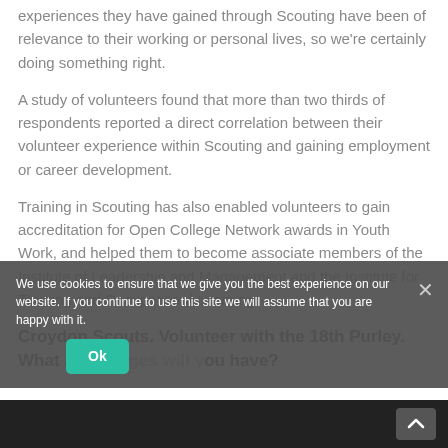experiences they have gained through Scouting have been of relevance to their working or personal lives, so we're certainly doing something right.
A study of volunteers found that more than two thirds of respondents reported a direct correlation between their volunteer experience within Scouting and gaining employment or career development.
Training in Scouting has also enabled volunteers to gain accreditation for Open College Network awards in Youth Work, and helped them to become associate members of the Institute of Leadership and Management and the Institute for Training and Occupational Learning.
Croydon Scouts. Volunteer with the 18th Purley. What advantages will you have?
We use cookies to ensure that we give you the best experience on our website. If you continue to use this site we will assume that you are happy with it.